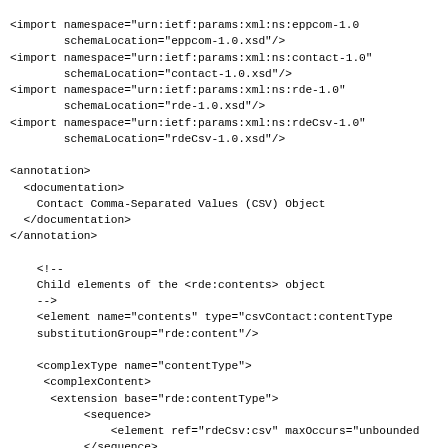<import namespace="urn:ietf:params:xml:ns:eppcom-1.0"
        schemaLocation="eppcom-1.0.xsd"/>
<import namespace="urn:ietf:params:xml:ns:contact-1.0"
        schemaLocation="contact-1.0.xsd"/>
<import namespace="urn:ietf:params:xml:ns:rde-1.0"
        schemaLocation="rde-1.0.xsd"/>
<import namespace="urn:ietf:params:xml:ns:rdeCsv-1.0"
        schemaLocation="rdeCsv-1.0.xsd"/>

<annotation>
  <documentation>
    Contact Comma-Separated Values (CSV) Object
  </documentation>
</annotation>

    <!--
    Child elements of the <rde:contents> object
    -->
    <element name="contents" type="csvContact:contentType"
    substitutionGroup="rde:content"/>

    <complexType name="contentType">
     <complexContent>
      <extension base="rde:contentType">
           <sequence>
               <element ref="rdeCsv:csv" maxOccurs="unbounded"
           </sequence>
      </extension>
     </complexContent>
    </complexType>